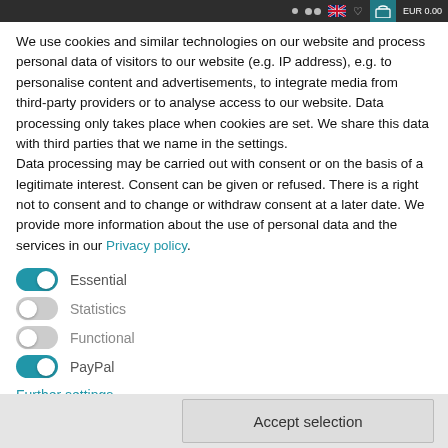EUR 0.00
We use cookies and similar technologies on our website and process personal data of visitors to our website (e.g. IP address), e.g. to personalise content and advertisements, to integrate media from third-party providers or to analyse access to our website. Data processing only takes place when cookies are set. We share this data with third parties that we name in the settings.
Data processing may be carried out with consent or on the basis of a legitimate interest. Consent can be given or refused. There is a right not to consent and to change or withdraw consent at a later date. We provide more information about the use of personal data and the services in our Privacy policy.
Essential (toggle on)
Statistics (toggle off)
Functional (toggle off)
PayPal (toggle on)
Further settings
Accept selection